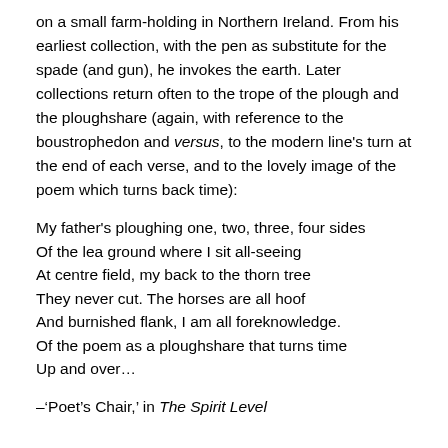on a small farm-holding in Northern Ireland. From his earliest collection, with the pen as substitute for the spade (and gun), he invokes the earth. Later collections return often to the trope of the plough and the ploughshare (again, with reference to the boustrophedon and versus, to the modern line's turn at the end of each verse, and to the lovely image of the poem which turns back time):
My father's ploughing one, two, three, four sides
Of the lea ground where I sit all-seeing
At centre field, my back to the thorn tree
They never cut. The horses are all hoof
And burnished flank, I am all foreknowledge.
Of the poem as a ploughshare that turns time
Up and over…
–'Poet's Chair,' in The Spirit Level